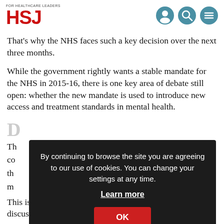HSJ — For Healthcare Leaders
That’s why the NHS faces such a key decision over the next three months.
While the government rightly wants a stable mandate for the NHS in 2015-16, there is one key area of debate still open: whether the new mandate is used to introduce new access and treatment standards in mental health.
By continuing to browse the site you are agreeing to our use of cookies. You can change your settings at any time. Learn more OK
This is important, as we need an open and honest discussion